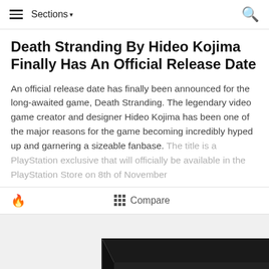Sections ▾
Death Stranding By Hideo Kojima Finally Has An Official Release Date
An official release date has finally been announced for the long-awaited game, Death Stranding. The legendary video game creator and designer Hideo Kojima has been one of the major reasons for the game becoming incredibly hyped up and garnering a sizeable fanbase. The title is a PlayStation exclusive that will officially be available in the PlayStation Store on 8th of November
[Figure (photo): Photo of a PlayStation 4 Slim console in dark/black color, angled view showing the flat top and front panel]
Compare